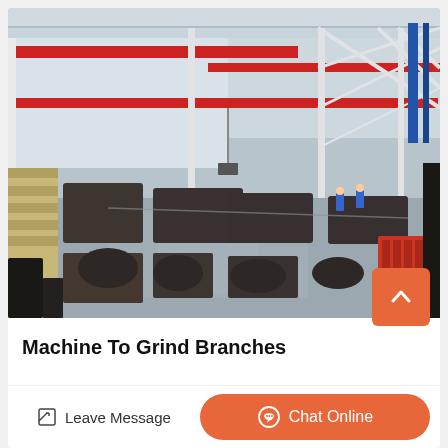[Figure (photo): Large industrial factory floor with overhead red crane beams, steel structure ceiling, heavy machinery and equipment arranged along the floor, workers visible in the background, a red industrial part visible in the foreground right.]
Machine To Grind Branches
Leave Message
Chat Online